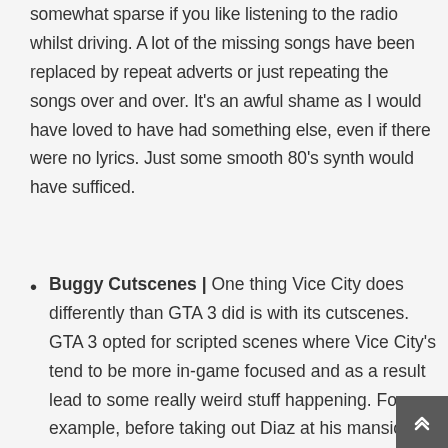somewhat sparse if you like listening to the radio whilst driving. A lot of the missing songs have been replaced by repeat adverts or just repeating the songs over and over. It's an awful shame as I would have loved to have had something else, even if there were no lyrics. Just some smooth 80's synth would have sufficed.
Buggy Cutscenes | One thing Vice City does differently than GTA 3 did is with its cutscenes. GTA 3 opted for scripted scenes where Vice City's tend to be more in-game focused and as a result lead to some really weird stuff happening. For example, before taking out Diaz at his mansion I rolled up in an Ambulance which